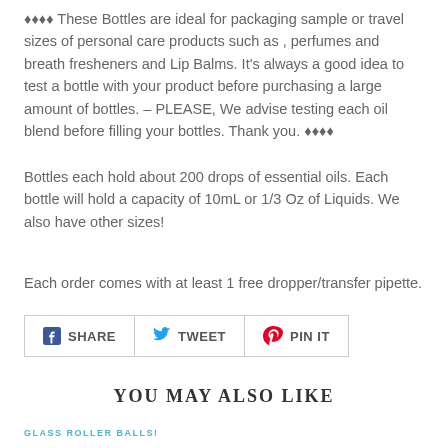♦♦♦♦ These Bottles are ideal for packaging sample or travel sizes of personal care products such as , perfumes and breath fresheners and Lip Balms. It's always a good idea to test a bottle with your product before purchasing a large amount of bottles. – PLEASE, We advise testing each oil blend before filling your bottles. Thank you. ♦♦♦♦
Bottles each hold about 200 drops of essential oils. Each bottle will hold a capacity of 10mL or 1/3 Oz of Liquids. We also have other sizes!
Each order comes with at least 1 free dropper/transfer pipette.
[Figure (other): Social sharing buttons: SHARE (Facebook), TWEET (Twitter), PIN IT (Pinterest)]
YOU MAY ALSO LIKE
GLASS ROLLER BALLS!